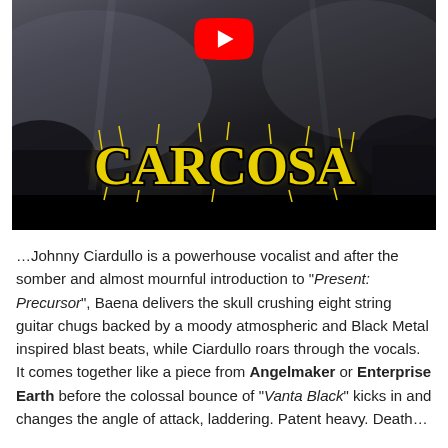[Figure (screenshot): YouTube video thumbnail showing a metal band performance with dark crowd background, a red YouTube play button at top center, and the band name 'Carcosa' in large yellow ornate metal typography in the lower center]
…Johnny Ciardullo is a powerhouse vocalist and after the somber and almost mournful introduction to "Present: Precursor", Baena delivers the skull crushing eight string guitar chugs backed by a moody atmospheric and Black Metal inspired blast beats, while Ciardullo roars through the vocals. It comes together like a piece from Angelmaker or Enterprise Earth before the colossal bounce of "Vanta Black" kicks in and changes the angle of attack, laddering. Patent heavy. Death...